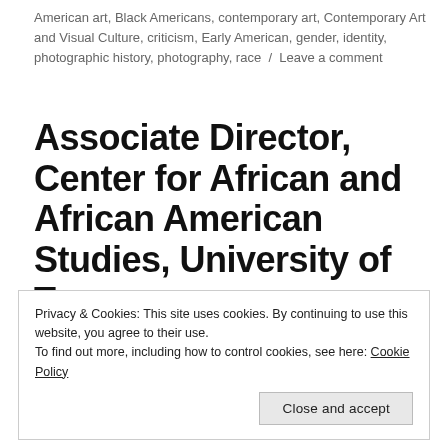American art, Black Americans, contemporary art, Contemporary Art and Visual Culture, criticism, Early American, gender, identity, photographic history, photography, race / Leave a comment
Associate Director, Center for African and African American Studies, University of Texas
Privacy & Cookies: This site uses cookies. By continuing to use this website, you agree to their use.
To find out more, including how to control cookies, see here: Cookie Policy
Close and accept